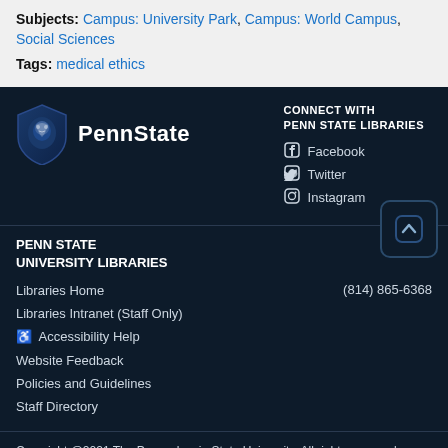Subjects: Campus: University Park, Campus: World Campus, Social Sciences
Tags: medical ethics
[Figure (logo): Penn State shield logo with lion and 'PennState' wordmark on dark navy background]
CONNECT WITH PENN STATE LIBRARIES
Facebook
Twitter
Instagram
PENN STATE UNIVERSITY LIBRARIES
Libraries Home
(814) 865-6368
Libraries Intranet (Staff Only)
Accessibility Help
Website Feedback
Policies and Guidelines
Staff Directory
Copyright @2021 The Pennsylvania State University. All rights reserved. Except where otherwise noted, this work is subject to a Creative Commons Attribution 4.0 license. Details and exceptions.
Legal Statements | PSU Hotline